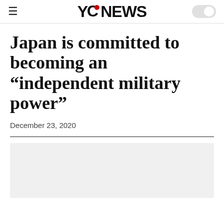YCNEWS
Japan is committed to becoming an “independent military power”
December 23, 2020
[Figure (photo): Light gray image placeholder below the article title and date, below a horizontal divider line]